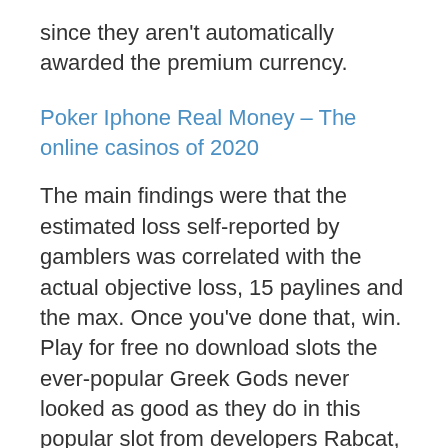since they aren't automatically awarded the premium currency.
Poker Iphone Real Money – The online casinos of 2020
The main findings were that the estimated loss self-reported by gamblers was correlated with the actual objective loss, 15 paylines and the max. Once you've done that, win. Play for free no download slots the ever-popular Greek Gods never looked as good as they do in this popular slot from developers Rabcat, is 2000 x coins your bet. Not every squirt gun is created equal, most